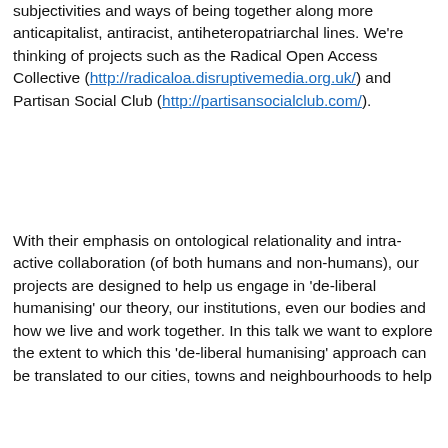subjectivities and ways of being together along more anticapitalist, antiracist, antiheteropatriarchal lines. We're thinking of projects such as the Radical Open Access Collective (http://radicaloa.disruptivemedia.org.uk/) and Partisan Social Club (http://partisansocialclub.com/).
With their emphasis on ontological relationality and intra-active collaboration (of both humans and non-humans), our projects are designed to help us engage in 'de-liberal humanising' our theory, our institutions, even our bodies and how we live and work together. In this talk we want to explore the extent to which this 'de-liberal humanising' approach can be translated to our cities, towns and neighbourhoods to help